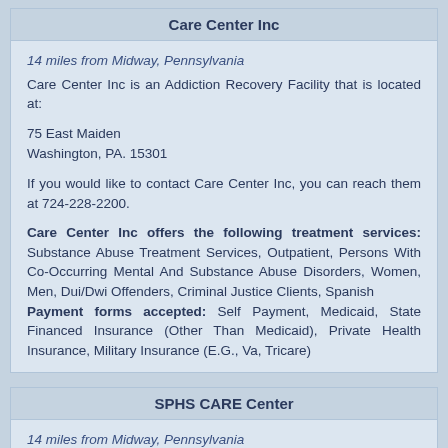Care Center Inc
14 miles from Midway, Pennsylvania
Care Center Inc is an Addiction Recovery Facility that is located at:

75 East Maiden
Washington, PA. 15301

If you would like to contact Care Center Inc, you can reach them at 724-228-2200.

Care Center Inc offers the following treatment services: Substance Abuse Treatment Services, Outpatient, Persons With Co-Occurring Mental And Substance Abuse Disorders, Women, Men, Dui/Dwi Offenders, Criminal Justice Clients, Spanish
Payment forms accepted: Self Payment, Medicaid, State Financed Insurance (Other Than Medicaid), Private Health Insurance, Military Insurance (E.G., Va, Tricare)
SPHS CARE Center
14 miles from Midway, Pennsylvania
SPHS CARE Center is a Drug and Alcohol Rehab Center that